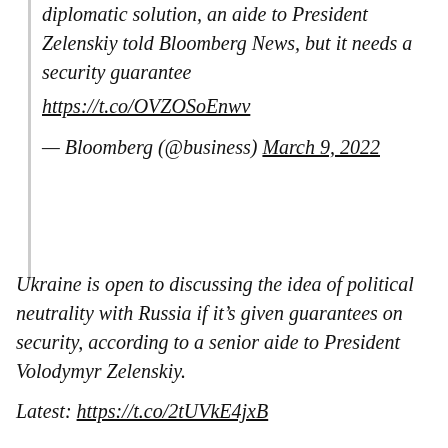diplomatic solution, an aide to President Zelenskiy told Bloomberg News, but it needs a security guarantee https://t.co/OVZOSoEnwv
— Bloomberg (@business) March 9, 2022
Ukraine is open to discussing the idea of political neutrality with Russia if it's given guarantees on security, according to a senior aide to President Volodymyr Zelenskiy.
Latest: https://t.co/2tUVkE4jxB